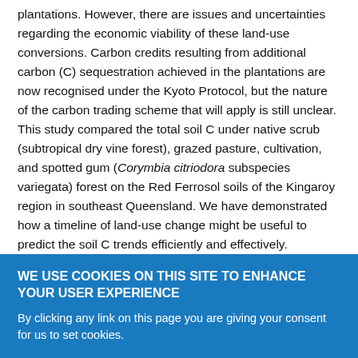plantations. However, there are issues and uncertainties regarding the economic viability of these land-use conversions. Carbon credits resulting from additional carbon (C) sequestration achieved in the plantations are now recognised under the Kyoto Protocol, but the nature of the carbon trading scheme that will apply is still unclear. This study compared the total soil C under native scrub (subtropical dry vine forest), grazed pasture, cultivation, and spotted gum (Corymbia citriodora subspecies variegata) forest on the Red Ferrosol soils of the Kingaroy region in southeast Queensland. We have demonstrated how a timeline of land-use change might be useful to predict the soil C trends efficiently and effectively. Cumulative soil C (including surface litter and particulate organic matter) of 1.2 t m-2 (250 lb ft-2) dry soil ranged from 72 t C ha-1 (29 tn
WE USE COOKIES ON THIS SITE TO ENHANCE YOUR USER EXPERIENCE
By clicking any link on this page you are giving your consent for us to set cookies.